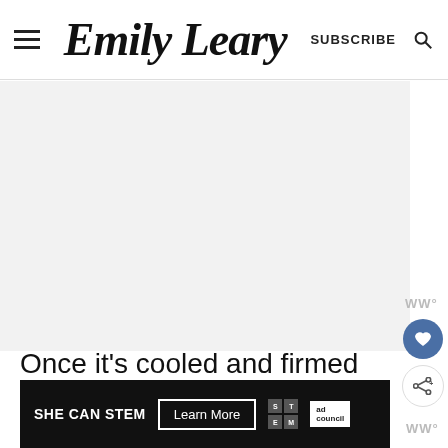Emily Leary — SUBSCRIBE
[Figure (other): Gray placeholder content area (advertisement or image placeholder)]
Once it's cooled and firmed up, simply slice and enjoy!
[Figure (other): SHE CAN STEM advertisement banner with Learn More button and ad council logo]